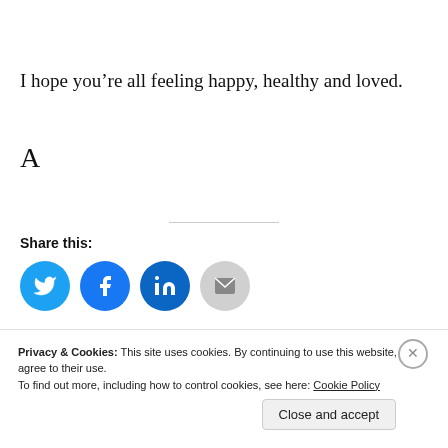I hope you’re all feeling happy, healthy and loved.
A
Share this:
[Figure (infographic): Social share buttons: Twitter (blue circle), Facebook (blue circle), LinkedIn (dark blue circle), Email (grey circle with envelope icon)]
Privacy & Cookies: This site uses cookies. By continuing to use this website, you agree to their use. To find out more, including how to control cookies, see here: Cookie Policy
Close and accept